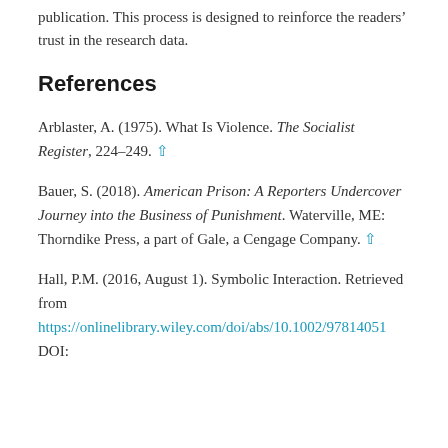publication. This process is designed to reinforce the readers' trust in the research data.
References
Arblaster, A. (1975). What Is Violence. The Socialist Register, 224–249. ↑
Bauer, S. (2018). American Prison: A Reporters Undercover Journey into the Business of Punishment. Waterville, ME: Thorndike Press, a part of Gale, a Cengage Company. ↑
Hall, P.M. (2016, August 1). Symbolic Interaction. Retrieved from https://onlinelibrary.wiley.com/doi/abs/10.1002/97814051 DOI: